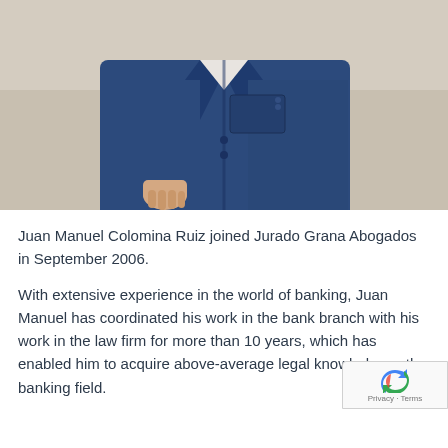[Figure (photo): Close-up photo of a man in a navy blue suit, showing torso and hands, standing outdoors against a beige/sandy background.]
Juan Manuel Colomina Ruiz joined Jurado Grana Abogados in September 2006.
With extensive experience in the world of banking, Juan Manuel has coordinated his work in the bank branch with his work in the law firm for more than 10 years, which has enabled him to acquire above-average legal knowledge in the banking field.